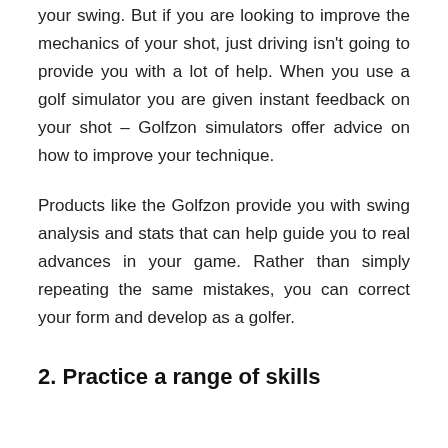your swing. But if you are looking to improve the mechanics of your shot, just driving isn't going to provide you with a lot of help. When you use a golf simulator you are given instant feedback on your shot – Golfzon simulators offer advice on how to improve your technique.
Products like the Golfzon provide you with swing analysis and stats that can help guide you to real advances in your game. Rather than simply repeating the same mistakes, you can correct your form and develop as a golfer.
2. Practice a range of skills